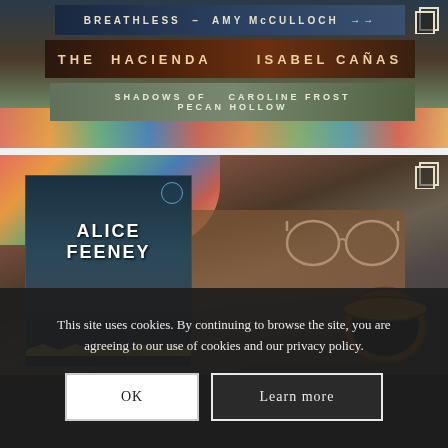[Figure (photo): Photo of stacked books on a colorful textile: Breathless by Amy McCulloch, The Hacienda by Isabel Cañas, Shadows of Pecan Hollow by Caroline Frost]
[Figure (photo): Photo of Alice Feeney book titled DAISY on a wooden surface next to a pair of glasses and a coffee cup with yellow rim, colorful textile in background]
This site uses cookies. By continuing to browse the site, you are agreeing to our use of cookies and our privacy policy.
OK
Learn more